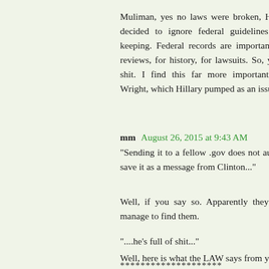Muliman, yes no laws were broken, HRC simply decided to ignore federal guidelines on record keeping. Federal records are important for FOIA reviews, for history, for lawsuits. So, yes i give a shit. I find this far more important than Rev. Wright, which Hillary pumped as an issue in 2008.
mm August 26, 2015 at 9:43 AM
"Sending it to a fellow .gov does not automatically save it as a message from Clinton..."
Well, if you say so. Apparently they seemed to manage to find them.
"....he's full of shit..."
Well, here is what the LAW says from your link.
********************
"The National Archives discourages the use of private